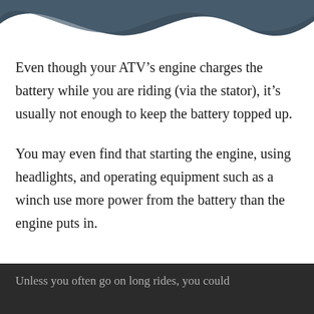[Figure (illustration): Dark blue/grey wave decorative graphic at the top of the page]
Even though your ATV’s engine charges the battery while you are riding (via the stator), it’s usually not enough to keep the battery topped up.
You may even find that starting the engine, using headlights, and operating equipment such as a winch use more power from the battery than the engine puts in.
Unless you often go on long rides, you could